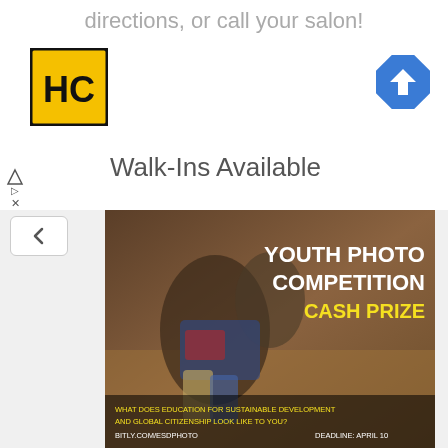directions, or call your salon!
[Figure (logo): HC logo — black and yellow square with HC letters]
[Figure (logo): Blue diamond navigation arrow icon]
Walk-Ins Available
[Figure (photo): Youth Photo Competition poster: two African youth looking at a phone, with text 'YOUTH PHOTO COMPETITION CASH PRIZE', 'WHAT DOES EDUCATION FOR SUSTAINABLE DEVELOPMENT AND GLOBAL CITIZENSHIP LOOK LIKE TO YOU?', 'BITLY.COM/ESDPHOTO', 'DEADLINE: APRIL 10']
UNESCO GEM Report Youth Photo Contest